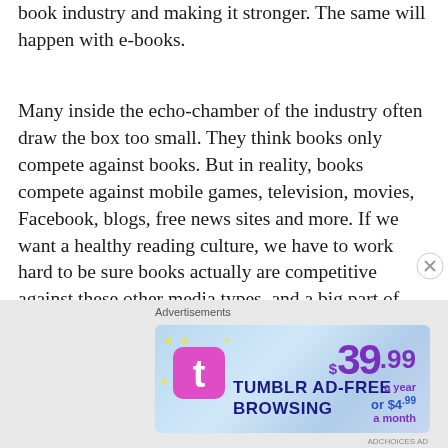book industry and making it stronger. The same will happen with e-books.
Many inside the echo-chamber of the industry often draw the box too small. They think books only compete against books. But in reality, books compete against mobile games, television, movies, Facebook, blogs, free news sites and more. If we want a healthy reading culture, we have to work hard to be sure books actually are competitive against these other media types, and a big part of that is working hard to make books less expensive.
[Figure (other): Tumblr Ad-Free Browsing advertisement banner showing $39.99 a year or $4.99 a month pricing]